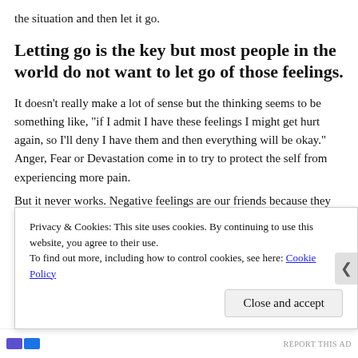the situation and then let it go.
Letting go is the key but most people in the world do not want to let go of those feelings.
It doesn’t really make a lot of sense but the thinking seems to be something like, “if I admit I have these feelings I might get hurt again, so I’ll deny I have them and then everything will be okay.” Anger, Fear or Devastation come in to try to protect the self from experiencing more pain.
But it never works. Negative feelings are our friends because they are great teachers. We learn so much from them.
A... (cut off)
Privacy & Cookies: This site uses cookies. By continuing to use this website, you agree to their use.
To find out more, including how to control cookies, see here: Cookie Policy
[Close and accept]